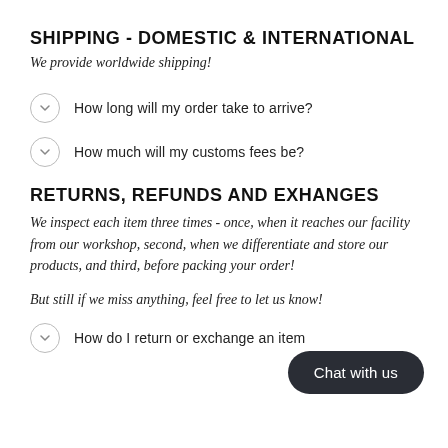SHIPPING - DOMESTIC & INTERNATIONAL
We provide worldwide shipping!
How long will my order take to arrive?
How much will my customs fees be?
RETURNS, REFUNDS AND EXHANGES
We inspect each item three times - once, when it reaches our facility from our workshop, second, when we differentiate and store our products, and third, before packing your order!
But still if we miss anything, feel free to let us know!
How do I return or exchange an item